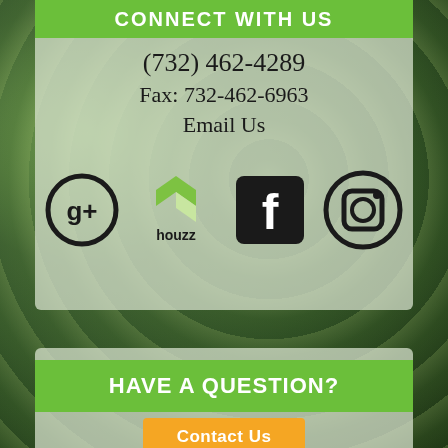CONNECT WITH US
(732) 462-4289
Fax: 732-462-6963
Email Us
[Figure (infographic): Social media icons: Google+, Houzz, Facebook, Instagram]
HAVE A QUESTION?
Contact Us